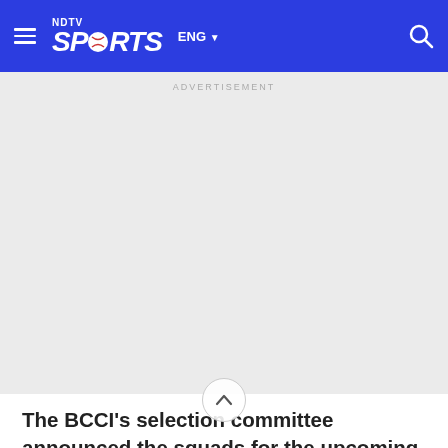NDTV SPORTS ENG
[Figure (other): Advertisement placeholder area with light gray background and 'ADVERTISEMENT' label at top]
The BCCI's selection committee announced the squads for the upcoming T20I series against South Africa and for the rescheduled 5th Test against